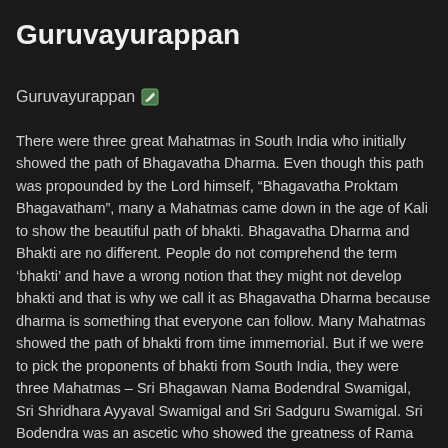Guruvayurappan
Guruvayurappan
There were three great Mahatmas in South India who initially showed the path of Bhagavatha Dharma. Even though this path was propounded by the Lord himself, “Bhagavatha Proktam Bhagavatham”, many a Mahatmas came down in the age of Kali to show the beautiful path of bhakti. Bhagavatha Dharma and Bhakti are no different. People do not comprehend the term ‘bhakti’ and have a wrong notion that they might not develop bhakti and that is why we call it as Bhagavatha Dharma because dharma is something that everyone can follow. Many Mahatmas showed the path of bhakti from time immemorial. But if we were to pick the proponents of bhakti from South India, they were three Mahatmas – Sri Bhagawan Nama Bodendral Swamigal, Sri Shridhara Ayyaval Swamigal and Sri Sadguru Swamigal. Sri Bodendra was an ascetic who showed the greatness of Rama Nama. His life was a standing example depicting the